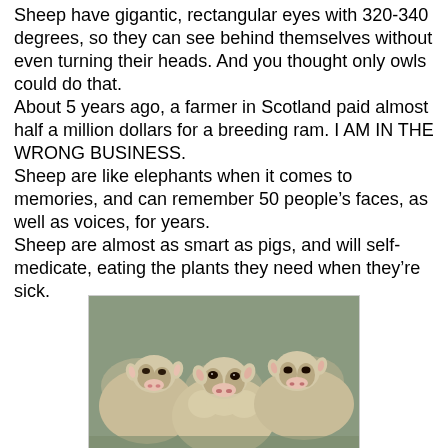Sheep have gigantic, rectangular eyes with 320-340 degrees, so they can see behind themselves without even turning their heads.  And you thought only owls could do that.
About 5 years ago, a farmer in Scotland paid almost half a million dollars for a breeding ram.  I AM IN THE WRONG BUSINESS.
Sheep are like elephants when it comes to memories, and can remember 50 people's faces, as well as voices, for years.
Sheep are almost as smart as pigs, and will self-medicate, eating the plants they need when they're sick.
[Figure (photo): A group of woolly sheep (merinos) facing the camera closely packed together, set against a blurred outdoor background.]